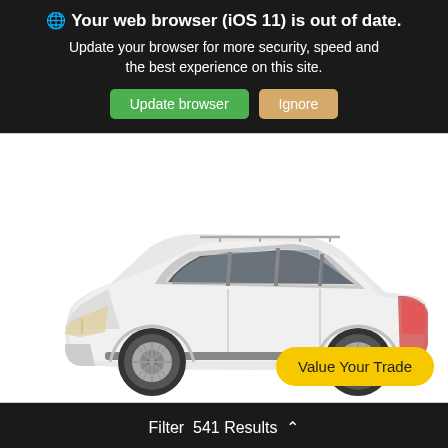🌐 Your web browser (iOS 11) is out of date. Update your browser for more security, speed and the best experience on this site.
Update browser
Ignore
[Figure (photo): Side profile view of a white Toyota Highlander SUV on white background]
Value Your Trade
Filter  541 Results ∧